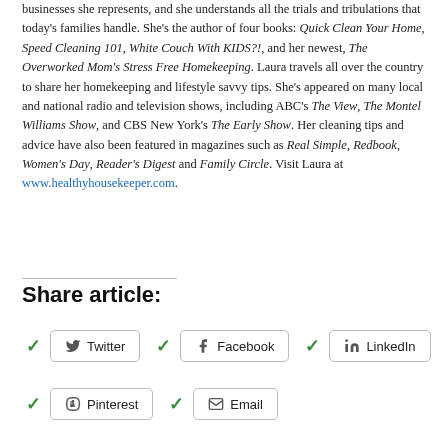businesses she represents, and she understands all the trials and tribulations that today's families handle. She's the author of four books: Quick Clean Your Home, Speed Cleaning 101, White Couch With KIDS?!, and her newest, The Overworked Mom's Stress Free Homekeeping. Laura travels all over the country to share her homekeeping and lifestyle savvy tips. She's appeared on many local and national radio and television shows, including ABC's The View, The Montel Williams Show, and CBS New York's The Early Show. Her cleaning tips and advice have also been featured in magazines such as Real Simple, Redbook, Women's Day, Reader's Digest and Family Circle. Visit Laura at www.healthyhousekeeper.com.
Share article:
Twitter
Facebook
LinkedIn
Pinterest
Email